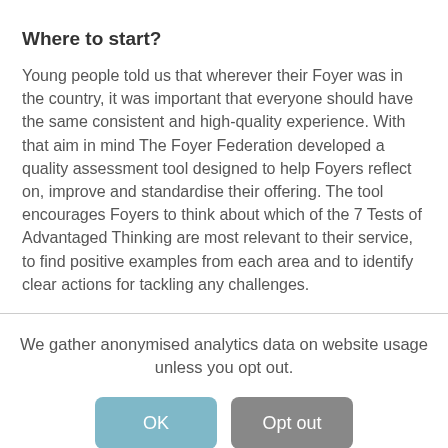Where to start?
Young people told us that wherever their Foyer was in the country, it was important that everyone should have the same consistent and high-quality experience. With that aim in mind The Foyer Federation developed a quality assessment tool designed to help Foyers reflect on, improve and standardise their offering. The tool encourages Foyers to think about which of the 7 Tests of Advantaged Thinking are most relevant to their service, to find positive examples from each area and to identify clear actions for tackling any challenges.
We gather anonymised analytics data on website usage unless you opt out.
OK   Opt out